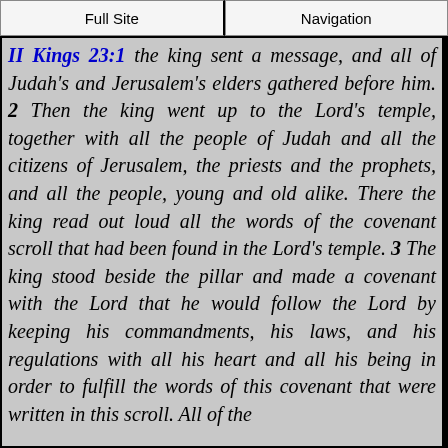Full Site | Navigation
II Kings 23:1 the king sent a message, and all of Judah's and Jerusalem's elders gathered before him. 2 Then the king went up to the Lord's temple, together with all the people of Judah and all the citizens of Jerusalem, the priests and the prophets, and all the people, young and old alike. There the king read out loud all the words of the covenant scroll that had been found in the Lord's temple. 3 The king stood beside the pillar and made a covenant with the Lord that he would follow the Lord by keeping his commandments, his laws, and his regulations with all his heart and all his being in order to fulfill the words of this covenant that were written in this scroll. All of the